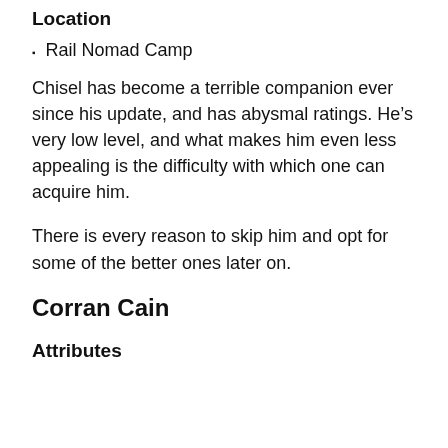Location
Rail Nomad Camp
Chisel has become a terrible companion ever since his update, and has abysmal ratings. He’s very low level, and what makes him even less appealing is the difficulty with which one can acquire him.
There is every reason to skip him and opt for some of the better ones later on.
Corran Cain
Attributes